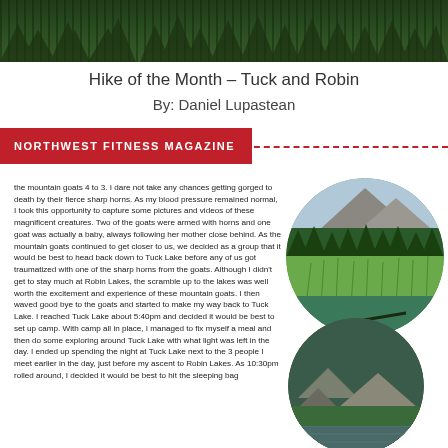[Figure (photo): Forest/mountain landscape photo at top of page]
Hike of the Month – Tuck and Robin
By: Daniel Lupastean
NORTHWEST FITNESS MAGAZINE
[Figure (photo): Circular photo of mountain meadow with green grasses and forested mountain backdrop]
the mountain goats 4 to 3. I dare not take any chances getting gorged to death by their fierce sharp horns. As my blood pressure remained normal, I took this opportunity to capture some pictures and videos of these magnificent creatures. Two of the goats were armed with horns and one goat was actually a baby, always following her mother close behind. As the mountain goats continued to get closer to us, we decided as a group that it would be best to head back down to Tuck Lake before any of us got traumatized with one of the sharp horns from the goats. Although I didn't get to stay much at Robin Lakes, the scramble up to the lakes was well worth the excitement and experience of these mountain goats. I then waved good bye to the goats and started to make my way back to Tuck Lake. I reached Tuck Lake about 5:40pm and decided it would be best to set up camp. With camp all in place, I managed to fix myself a meal and then do some exploring around Tuck Lake with what light was left in the day. I ended up spending the night at Tuck Lake next to the 3 people I meet earlier in the day, just before my ascent to Robin Lakes. As 10:30pm rolled around, I decided it would be best to hit the sleeping bag
[Figure (photo): Circular photo of rocky mountain terrain with trees]